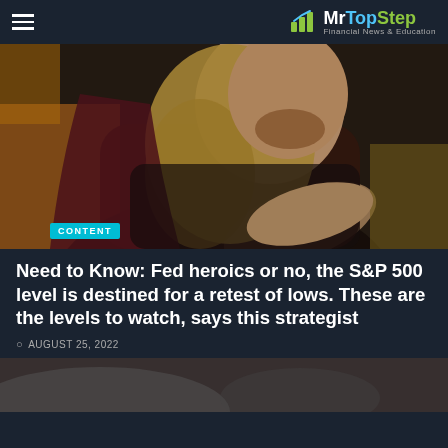MrTopStep Financial News & Education
[Figure (photo): Man dressed as Thor (Marvel superhero) with long blonde hair, dark costume, muscular build, dramatic action pose]
Need to Know: Fed heroics or no, the S&P 500 level is destined for a retest of lows. These are the levels to watch, says this strategist
AUGUST 25, 2022
[Figure (photo): Bottom partial image, dark gray tones, partially visible]